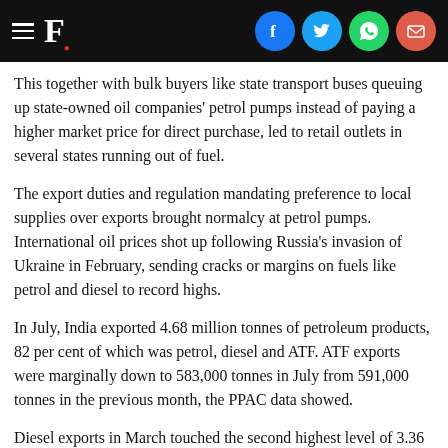F.
This together with bulk buyers like state transport buses queuing up state-owned oil companies' petrol pumps instead of paying a higher market price for direct purchase, led to retail outlets in several states running out of fuel.
The export duties and regulation mandating preference to local supplies over exports brought normalcy at petrol pumps. International oil prices shot up following Russia's invasion of Ukraine in February, sending cracks or margins on fuels like petrol and diesel to record highs.
In July, India exported 4.68 million tonnes of petroleum products, 82 per cent of which was petrol, diesel and ATF. ATF exports were marginally down to 583,000 tonnes in July from 591,000 tonnes in the previous month, the PPAC data showed.
Diesel exports in March touched the second highest level of 3.36 million tonnes, before tapering to 2.7 million tonnes in the following month. They rose to 2.95 million tonnes in May and